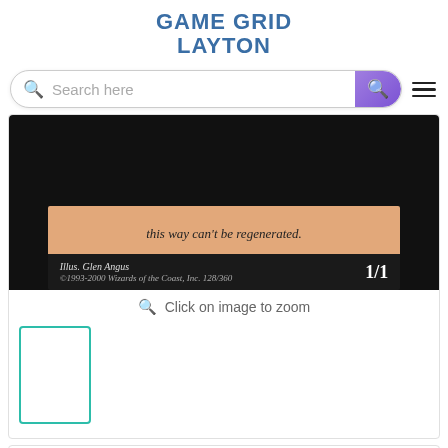GAME GRID
LAYTON
Search here
[Figure (photo): Cropped Magic: The Gathering card showing flavor text 'this way can't be regenerated.' and bottom bar with 'Illus. Glen Angus' and '1/1' power/toughness, copyright '©1993-2000 Wizards of the Coast, Inc. 128/360']
Click on image to zoom
[Figure (photo): Small thumbnail placeholder with teal/cyan border outline, empty white interior]